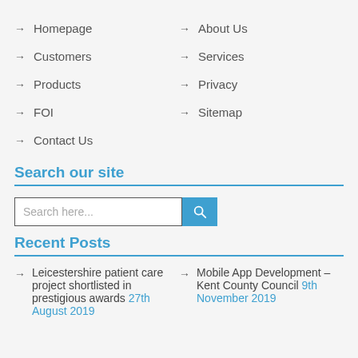→ Homepage
→ About Us
→ Customers
→ Services
→ Products
→ Privacy
→ FOI
→ Sitemap
→ Contact Us
Search our site
Search here...
Recent Posts
→ Leicestershire patient care project shortlisted in prestigious awards 27th August 2019
→ Mobile App Development – Kent County Council 9th November 2019